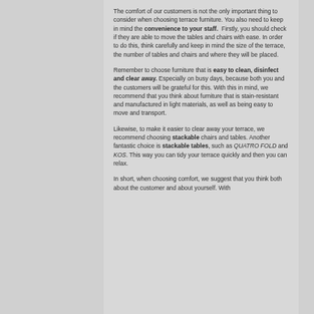The comfort of our customers is not the only important thing to consider when choosing terrace furniture. You also need to keep in mind the convenience to your staff. Firstly, you should check if they are able to move the tables and chairs with ease. In order to do this, think carefully and keep in mind the size of the terrace, the number of tables and chairs and where they will be placed.
Remember to choose furniture that is easy to clean, disinfect and clear away. Especially on busy days, because both you and the customers will be grateful for this. With this in mind, we recommend that you think about furniture that is stain-resistant and manufactured in light materials, as well as being easy to move and transport.
Likewise, to make it easier to clear away your terrace, we recommend choosing stackable chairs and tables. Another fantastic choice is stackable tables, such as QUATRO FOLD and KOS. This way you can tidy your terrace quickly and then you can relax.
In short, when choosing comfort, we suggest that you think both about the customer and about yourself. With